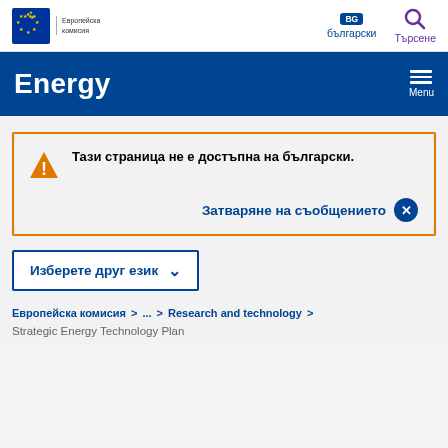Европейска комисия — EC logo — BG български — Търсене
Energy
Тази страница не е достъпна на български.
Затваряне на съобщението ×
Изберете друг език ∨
Европейска комисия > ... > Research and technology >
Strategic Energy Technology Plan